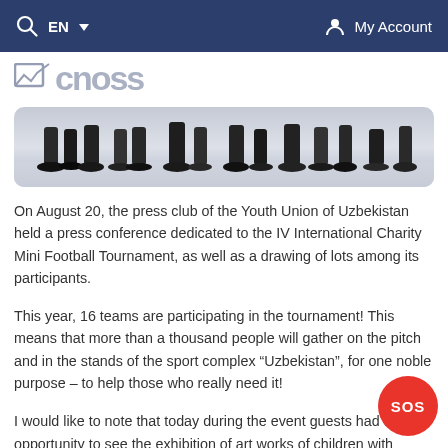EN  My Account
[Figure (photo): Partial view of people's feet and lower legs at an indoor event, with a reflective floor visible.]
On August 20, the press club of the Youth Union of Uzbekistan held a press conference dedicated to the IV International Charity Mini Football Tournament, as well as a drawing of lots among its participants.
This year, 16 teams are participating in the tournament! This means that more than a thousand people will gather on the pitch and in the stands of the sport complex “Uzbekistan”, for one noble purpose – to help those who really need it!
I would like to note that today during the event guests had the opportunity to see the exhibition of art works of children with disabilities, which will be available for purchase during the tournament – 4-5 September in the